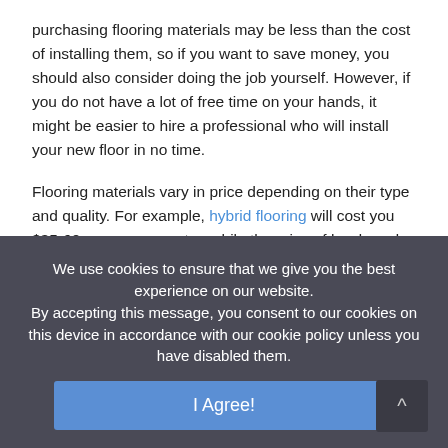purchasing flooring materials may be less than the cost of installing them, so if you want to save money, you should also consider doing the job yourself. However, if you do not have a lot of free time on your hands, it might be easier to hire a professional who will install your new floor in no time.
Flooring materials vary in price depending on their type and quality. For example, hybrid flooring will cost you $35-60 per square meter, while the price of hardwood flooring is way higher, as you probably already know. But, if you're choosing a hardwood with a really fine grain, you can easily pay up to $5 per square foot.
We use cookies to ensure that we give you the best experience on our website.
By accepting this message, you consent to our cookies on this device in accordance with our cookie policy unless you have disabled them.
I Agree!